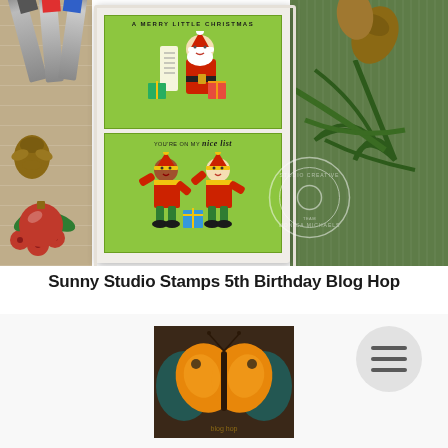[Figure (photo): A Christmas card craft photo showing a handmade greeting card with two panels on a green background. Top panel says 'A MERRY LITTLE CHRISTMAS' with Santa Claus holding a list. Bottom panel says 'YOU'RE ON MY nice list' with two holiday elves and gift boxes. Card is surrounded by pine cones, holly berries, red ornament, evergreen branches, and marker pens on a wood surface and green textured background. A circular watermark reads 'Studio Creative Team'.]
Sunny Studio Stamps 5th Birthday Blog Hop
[Figure (photo): A crafted card or artwork featuring a butterfly design with orange/yellow wings on a dark mixed-media background with teal/blue elements.]